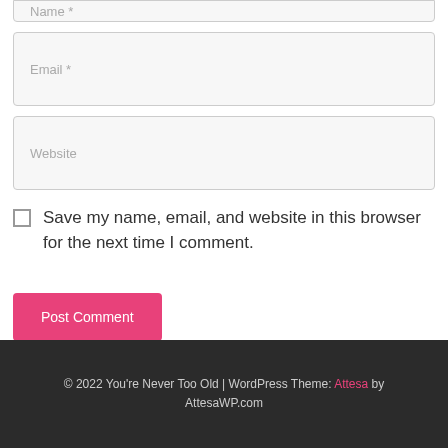[Figure (screenshot): Partial bottom of a Name input field (cut off at top of page)]
[Figure (screenshot): Email required input field with placeholder text 'Email *']
[Figure (screenshot): Website input field with placeholder text 'Website']
Save my name, email, and website in this browser for the next time I comment.
[Figure (screenshot): Pink 'Post Comment' button]
© 2022 You're Never Too Old | WordPress Theme: Attesa by AttesaWP.com